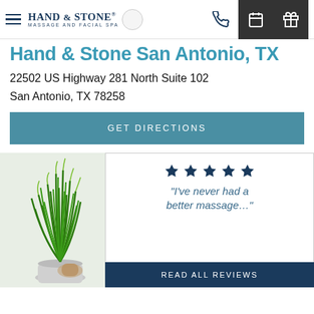Hand & Stone Massage and Facial Spa
Hand & Stone San Antonio, TX
22502 US Highway 281 North Suite 102
San Antonio, TX 78258
GET DIRECTIONS
[Figure (photo): Green grass plant in white pot with spa accessories, review card overlay showing 5 stars and quote 'I've never had a better massage…']
READ ALL REVIEWS